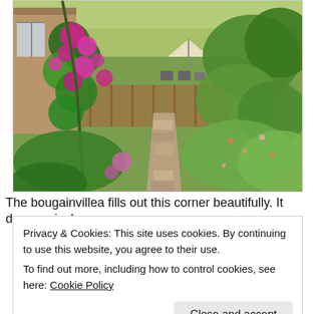[Figure (photo): A lush garden with bright magenta bougainvillea flowers in the foreground on the left, a stone pathway leading toward a patio area with outdoor furniture and a shade umbrella in the background, surrounded by dense greenery, shrubs, and flowering plants on both sides. A wooden fence and house structure are visible in the background.]
The bougainvillea fills out this corner beautifully. It drapes nicely
Privacy & Cookies: This site uses cookies. By continuing to use this website, you agree to their use.
To find out more, including how to control cookies, see here: Cookie Policy
Close and accept
[Figure (photo): Bottom portion of another garden photograph visible at the very bottom of the page.]